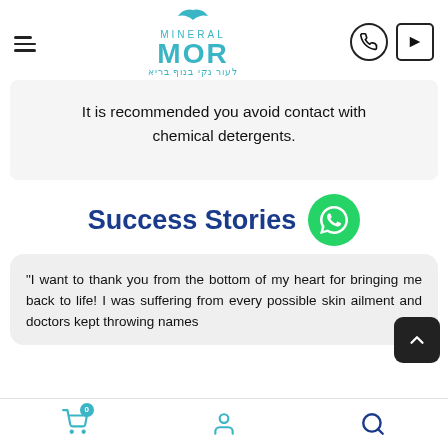Mineral MOR — navigation header with logo and icons
It is recommended you avoid contact with chemical detergents.
Success Stories
"I want to thank you from the bottom of my heart for bringing me back to life! I was suffering from every possible skin ailment and doctors kept throwing names
Bottom navigation bar with cart (0), user, and search icons